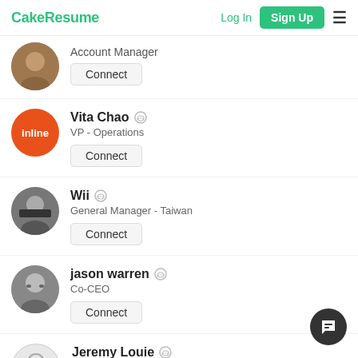CakeResume  Log In  Sign Up
Account Manager
Connect
Vita Chao  VP - Operations  Connect
Wii  General Manager - Taiwan  Connect
jason warren  Co-CEO  Connect
Jeremy Louie